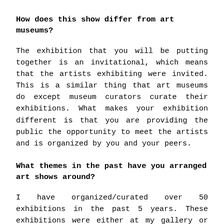How does this show differ from art museums?
The exhibition that you will be putting together is an invitational, which means that the artists exhibiting were invited. This is a similar thing that art museums do except museum curators curate their exhibitions. What makes your exhibition different is that you are providing the public the opportunity to meet the artists and is organized by you and your peers.
What themes in the past have you arranged art shows around?
I have organized/curated over 50 exhibitions in the past 5 years. These exhibitions were either at my gallery or other art venues in Wisconsin. Each exhibition has a different theme. Themes ranged from collage to painting, abstraction to photography, emerging artists